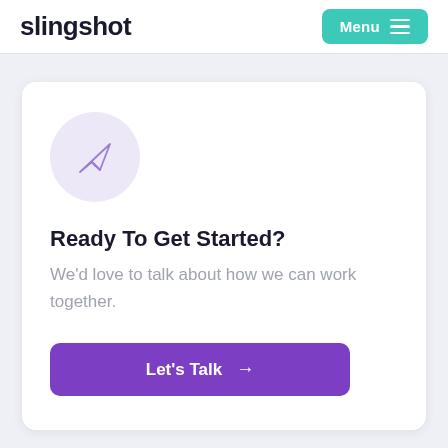slingshot
[Figure (illustration): Paper airplane icon inside a light purple circle]
Ready To Get Started?
We'd love to talk about how we can work together.
Let's Talk →